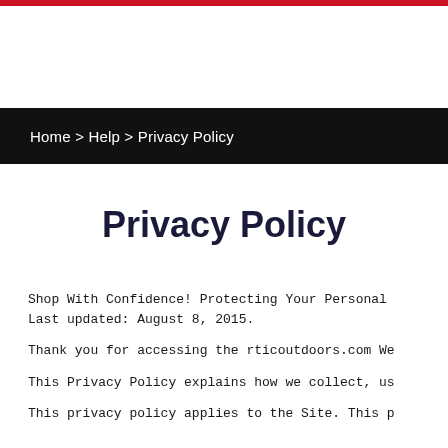Home > Help > Privacy Policy
Privacy Policy
Shop With Confidence! Protecting Your Personal
Last updated: August 8, 2015.
Thank you for accessing the rticoutdoors.com We
This Privacy Policy explains how we collect, us
This privacy policy applies to the Site. This p